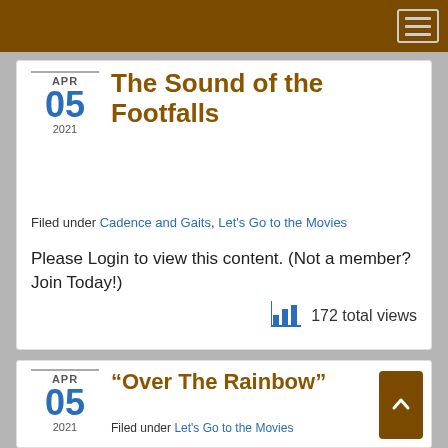Navigation header with menu button
The Sound of the Footfalls
APR 05 2021
Filed under Cadence and Gaits, Let's Go to the Movies
Please Login to view this content. (Not a member? Join Today!)
172 total views
“Over The Rainbow”
APR 05 2021
Filed under Let's Go to the Movies